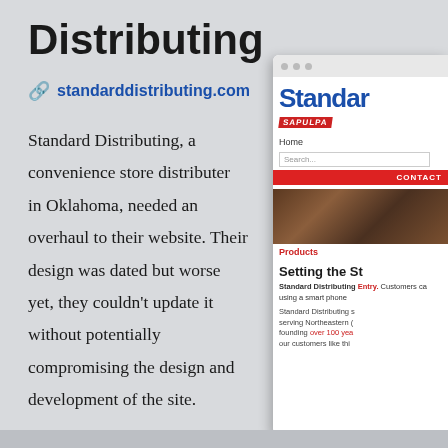Distributing
standarddistributing.com
Standard Distributing, a convenience store distributer in Oklahoma, needed an overhaul to their website. Their design was dated but worse yet, they couldn't update it without potentially compromising the design and development of the site.
CASE STUDY
[Figure (screenshot): Screenshot of the Standard Distributing website showing a browser window with the site logo, navigation, search bar, contact button, product image, and introductory text about Standard Distributing.]